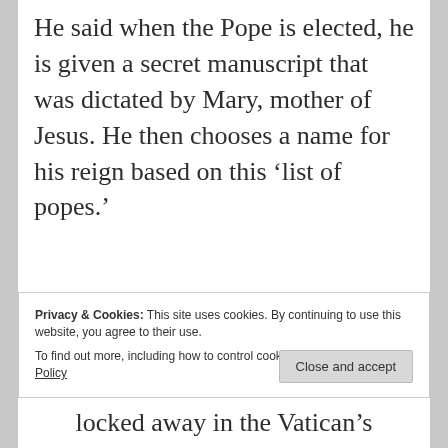He said when the Pope is elected, he is given a secret manuscript that was dictated by Mary, mother of Jesus. He then chooses a name for his reign based on this ‘list of popes.’
Privacy & Cookies: This site uses cookies. By continuing to use this website, you agree to their use. To find out more, including how to control cookies, see here: Cookie Policy
locked away in the Vatican’s